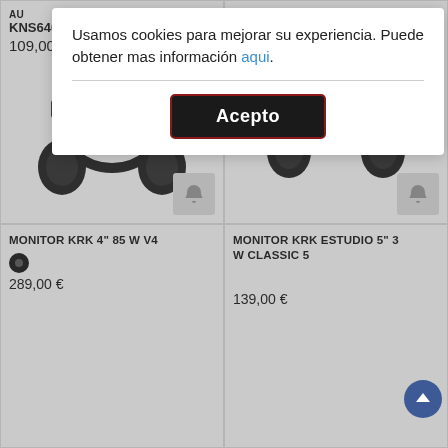Usamos cookies para mejorar su experiencia. Puede obtener mas información aqui.
Acepto
KNS6400
109,00 €
[Figure (photo): Black over-ear headphones with SIN STOCK (out of stock) badge overlay]
KNS6400
75,00 €
[Figure (photo): Black over-ear headphones with SIN STOCK (out of stock) badge overlay]
MONITOR KRK 4" 85 W V4
289,00 €
MONITOR KRK ESTUDIO 5" 3 W CLASSIC 5
139,00 €